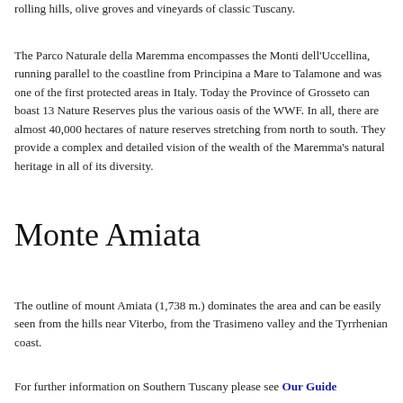rolling hills, olive groves and vineyards of classic Tuscany.
The Parco Naturale della Maremma encompasses the Monti dell'Uccellina, running parallel to the coastline from Principina a Mare to Talamone and was one of the first protected areas in Italy. Today the Province of Grosseto can boast 13 Nature Reserves plus the various oasis of the WWF. In all, there are almost 40,000 hectares of nature reserves stretching from north to south. They provide a complex and detailed vision of the wealth of the Maremma's natural heritage in all of its diversity.
Monte Amiata
The outline of mount Amiata (1,738 m.) dominates the area and can be easily seen from the hills near Viterbo, from the Trasimeno valley and the Tyrrhenian coast.
For further information on Southern Tuscany please see Our Guide